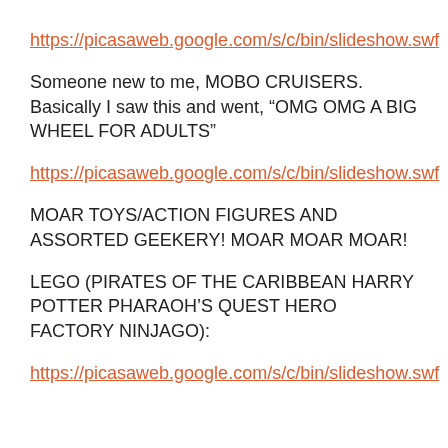https://picasaweb.google.com/s/c/bin/slideshow.swf
Someone new to me, MOBO CRUISERS. Basically I saw this and went, “OMG OMG A BIG WHEEL FOR ADULTS”
https://picasaweb.google.com/s/c/bin/slideshow.swf
MOAR TOYS/ACTION FIGURES AND ASSORTED GEEKERY! MOAR MOAR MOAR!
LEGO (PIRATES OF THE CARIBBEAN HARRY POTTER PHARAOH’S QUEST HERO FACTORY NINJAGO):
https://picasaweb.google.com/s/c/bin/slideshow.swf